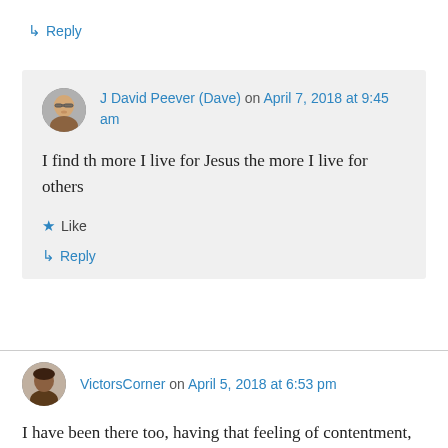↳ Reply
J David Peever (Dave) on April 7, 2018 at 9:45 am
I find th more I live for Jesus the more I live for others
★ Like
↳ Reply
VictorsCorner on April 5, 2018 at 6:53 pm
I have been there too, having that feeling of contentment, wondering: what more is there to life? But in the end, I 'settle in' too, since I am